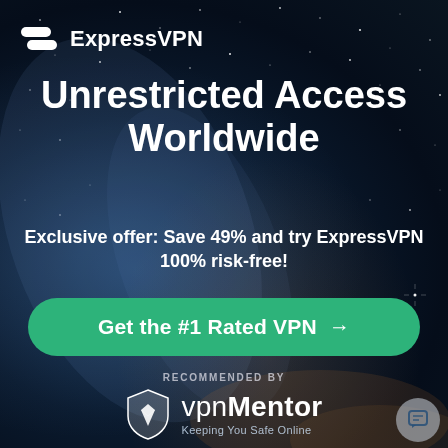[Figure (logo): ExpressVPN logo: two overlapping white rounded shield/ribbon shapes and white text 'ExpressVPN']
Unrestricted Access Worldwide
Exclusive offer: Save 49% and try ExpressVPN 100% risk-free!
Get the #1 Rated VPN →
RECOMMENDED BY
[Figure (logo): vpnMentor logo: white shield with abstract wing/check mark emblem, text 'vpnMentor' and tagline 'Keeping You Safe Online']